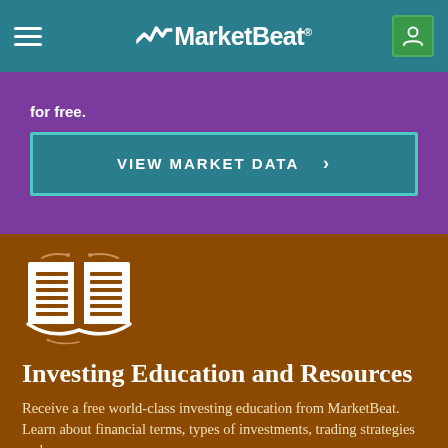MarketBeat
for free.
VIEW MARKET DATA >
[Figure (illustration): Open book icon in white on brown background representing investing education resources]
Investing Education and Resources
Receive a free world-class investing education from MarketBeat. Learn about financial terms, types of investments, trading strategies and